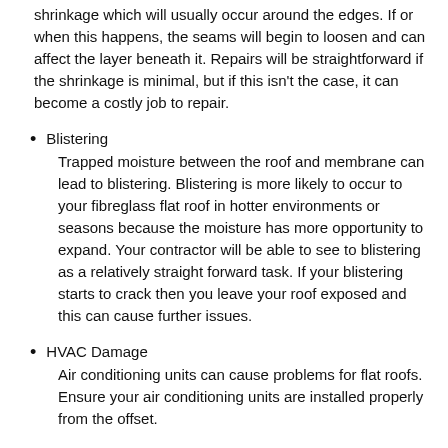shrinkage which will usually occur around the edges. If or when this happens, the seams will begin to loosen and can affect the layer beneath it. Repairs will be straightforward if the shrinkage is minimal, but if this isn't the case, it can become a costly job to repair.
Blistering
Trapped moisture between the roof and membrane can lead to blistering. Blistering is more likely to occur to your fibreglass flat roof in hotter environments or seasons because the moisture has more opportunity to expand. Your contractor will be able to see to blistering as a relatively straight forward task. If your blistering starts to crack then you leave your roof exposed and this can cause further issues.
HVAC Damage
Air conditioning units can cause problems for flat roofs. Ensure your air conditioning units are installed properly from the offset.